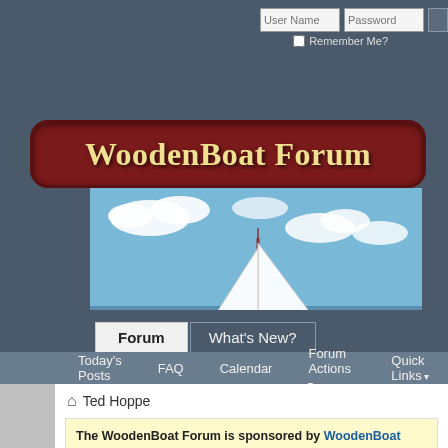[Figure (screenshot): WoodenBoat Forum website header with login fields (User Name, Password), Remember Me checkbox, WoodenBoat Forum logo on dark red rounded banner, sailboat photo, Forum and What's New? tabs, secondary navigation bar with Today's Posts, FAQ, Calendar, Forum Actions, Quick Links]
Ted Hoppe
The WoodenBoat Forum is sponsored by WoodenBoat Publications magazine. The Forum is a free service, and much like the "free" content, will support WoodenBoat by subscribing to this fabulous magazine. your door or computer, mobile device of choice, etc, click WB Subs